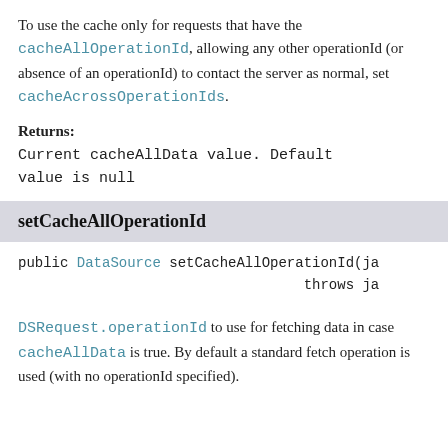To use the cache only for requests that have the cacheAllOperationId, allowing any other operationId (or absence of an operationId) to contact the server as normal, set cacheAcrossOperationIds.
Returns:
Current cacheAllData value. Default value is null
setCacheAllOperationId
public DataSource setCacheAllOperationId(ja
                                  throws ja
DSRequest.operationId to use for fetching data in case cacheAllData is true. By default a standard fetch operation is used (with no operationId specified).